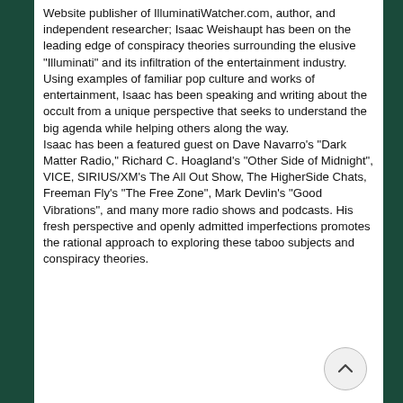Website publisher of IlluminatiWatcher.com, author, and independent researcher; Isaac Weishaupt has been on the leading edge of conspiracy theories surrounding the elusive "Illuminati" and its infiltration of the entertainment industry. Using examples of familiar pop culture and works of entertainment, Isaac has been speaking and writing about the occult from a unique perspective that seeks to understand the big agenda while helping others along the way.
Isaac has been a featured guest on Dave Navarro's "Dark Matter Radio," Richard C. Hoagland's "Other Side of Midnight", VICE, SIRIUS/XM's The All Out Show, The HigherSide Chats, Freeman Fly's "The Free Zone", Mark Devlin's "Good Vibrations", and many more radio shows and podcasts. His fresh perspective and openly admitted imperfections promotes the rational approach to exploring these taboo subjects and conspiracy theories.
[Figure (other): A circular scroll-up navigation button with a chevron/caret pointing upward, positioned at the bottom right of the content area.]